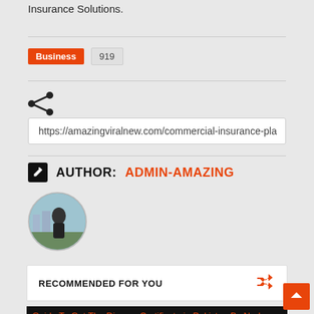Insurance Solutions.
Business  919
[Figure (other): Share icon (less-than-like share symbol)]
https://amazingviralnew.com/commercial-insurance-pla
AUTHOR: ADMIN-AMAZING
[Figure (photo): Circular author avatar photo showing a person outdoors]
RECOMMENDED FOR YOU
[Figure (photo): Guide To Get The Divorce Certificate in Pakistan By Nadra - thumbnail image with dark background]